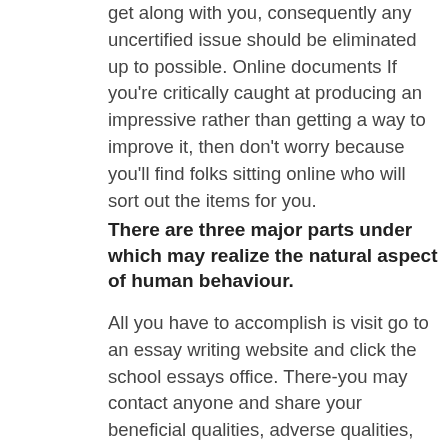get along with you, consequently any uncertified issue should be eliminated up to possible. Online documents If you're critically caught at producing an impressive rather than getting a way to improve it, then don't worry because you'll find folks sitting online who will sort out the items for you.
There are three major parts under which may realize the natural aspect of human behaviour.
All you have to accomplish is visit go to an essay writing website and click the school essays office. There-you may contact anyone and share your beneficial qualities, adverse qualities, passions and interests, and also the success you have got. The others of thing is likely to be treated from the professional. Once you composition has been http://essaywritingsupport.com/ produced